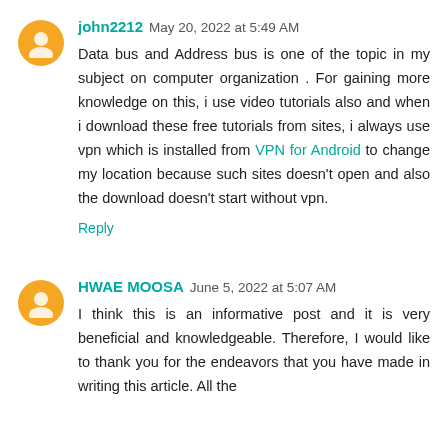john2212  May 20, 2022 at 5:49 AM
Data bus and Address bus is one of the topic in my subject on computer organization . For gaining more knowledge on this, i use video tutorials also and when i download these free tutorials from sites, i always use vpn which is installed from VPN for Android to change my location because such sites doesn't open and also the download doesn't start without vpn.
Reply
HWAE MOOSA  June 5, 2022 at 5:07 AM
I think this is an informative post and it is very beneficial and knowledgeable. Therefore, I would like to thank you for the endeavors that you have made in writing this article. All the